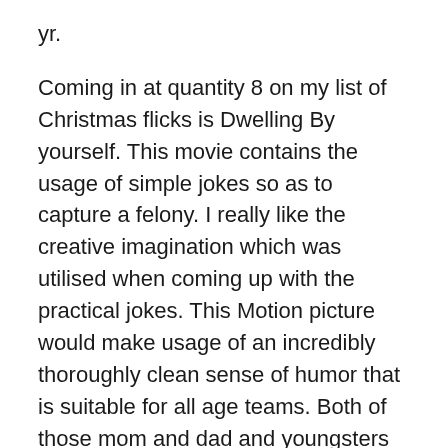yr.
Coming in at quantity 8 on my list of Christmas flicks is Dwelling By yourself. This movie contains the usage of simple jokes so as to capture a felony. I really like the creative imagination which was utilised when coming up with the practical jokes. This Motion picture would make usage of an incredibly thoroughly clean sense of humor that is suitable for all age teams. Both of those mom and dad and youngsters will want to observe this movie time and again all over again.
Range seven on my checklist is Wonder on 34th St. This Motion picture is really a common and evokes the top in all of us. If